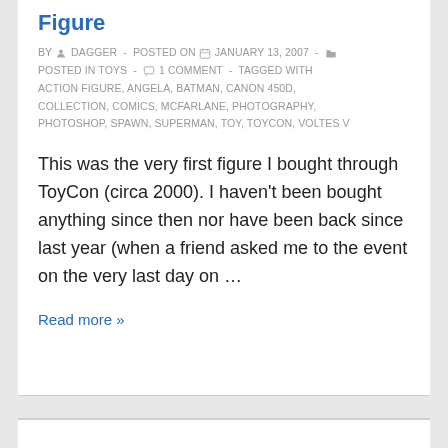Figure
BY DAGGER  -  POSTED ON JANUARY 13, 2007  -  POSTED IN TOYS  -  1 COMMENT  -  TAGGED WITH ACTION FIGURE, ANGELA, BATMAN, CANON 450D, COLLECTION, COMICS, MCFARLANE, PHOTOGRAPHY, PHOTOSHOP, SPAWN, SUPERMAN, TOY, TOYCON, VOLTES V
This was the very first figure I bought through ToyCon (circa 2000). I haven't been bought anything since then nor have been back since last year (when a friend asked me to the event on the very last day on …
Read more »